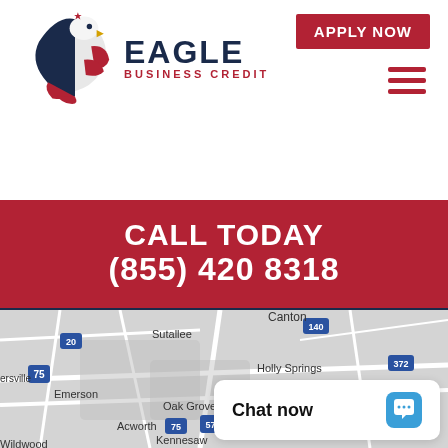[Figure (logo): Eagle Business Credit logo with eagle graphic and text]
APPLY NOW
CALL TODAY
(855) 420 8318
[Figure (map): Google Maps showing area around Woodstock, Georgia including Canton, Holly Springs, Acworth, Kennesaw, Roswell, Milton, Alpharetta, Emerson, Sutallee, Oak Grove, Wildwood]
Chat now